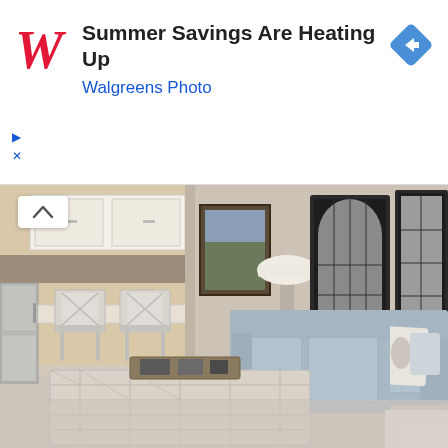[Figure (photo): Walgreens Photo advertisement banner with red cursive W logo, headline 'Summer Savings Are Heating Up', subtext 'Walgreens Photo', and blue diamond navigation icon on the right. Small play and X controls below left.]
[Figure (photo): Interior living room photo showing a light blue/grey sofa with decorative pillows including a seahorse pillow, a large upholstered ottoman/coffee table with tray, white bar stools at a kitchen counter, stainless steel refrigerator, arched and rectangular metal-framed mirrors on the wall, and a floor lamp. Neutral carpet and beige walls.]